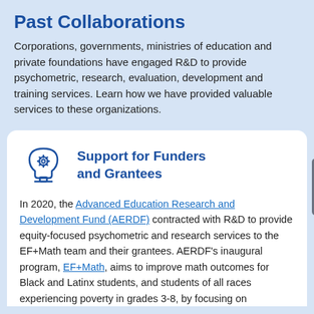Past Collaborations
Corporations, governments, ministries of education and private foundations have engaged R&D to provide psychometric, research, evaluation, development and training services. Learn how we have provided valuable services to these organizations.
Support for Funders and Grantees
In 2020, the Advanced Education Research and Development Fund (AERDF) contracted with R&D to provide equity-focused psychometric and research services to the EF+Math team and their grantees. AERDF's inaugural program, EF+Math, aims to improve math outcomes for Black and Latinx students, and students of all races experiencing poverty in grades 3-8, by focusing on